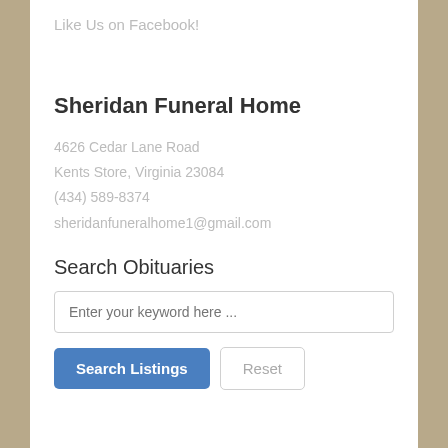Like Us on Facebook!
Sheridan Funeral Home
4626 Cedar Lane Road
Kents Store, Virginia 23084
(434) 589-8374
sheridanfuneralhome1@gmail.com
Search Obituaries
Enter your keyword here ...
Search Listings
Reset